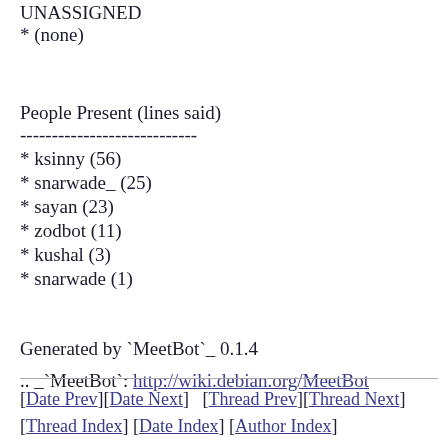UNASSIGNED
* (none)
People Present (lines said)
----------------------------
* ksinny (56)
* snarwade_ (25)
* sayan (23)
* zodbot (11)
* kushal (3)
* snarwade (1)
Generated by `MeetBot`_ 0.1.4
.. _`MeetBot`: http://wiki.debian.org/MeetBot
[Date Prev][Date Next]   [Thread Prev][Thread Next]   [Thread Index] [Date Index] [Author Index]